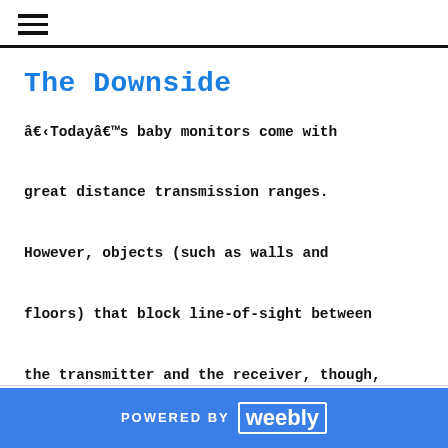☰
The Downside
â€‹Todayâ€™s baby monitors come with great distance transmission ranges. However, objects (such as walls and floors) that block line-of-sight between the transmitter and the receiver, though, limit the actual range.
POWERED BY weebly